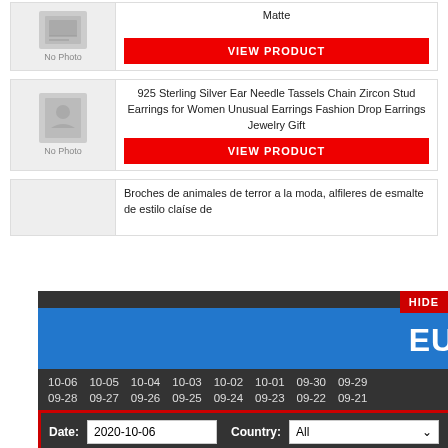[Figure (screenshot): Product listing page showing jewelry items with No Photo placeholder images and VIEW PRODUCT red buttons]
Matte
VIEW PRODUCT
925 Sterling Silver Ear Needle Tassels Chain Zircon Stud Earrings for Women Unusual Earrings Fashion Drop Earrings Jewelry Gift
VIEW PRODUCT
Broches de animales de terror a la moda, alfileres de esmalte de estilo claise de
[Figure (screenshot): EU WINNER popup overlay with date navigation buttons (10-06 through 09-21), search form with Date 2020-10-06, Country All, Popularity Min 1 Max 1000, Search button]
HIDE
EU WINNER
10-06 10-05 10-04 10-03 10-02 10-01 09-30 09-29 09-28 09-27 09-26 09-25 09-24 09-23 09-22 09-21
Date: 2020-10-06   Country: All   Popularity Min: 1   Max: 1000   Search
2020-10-06